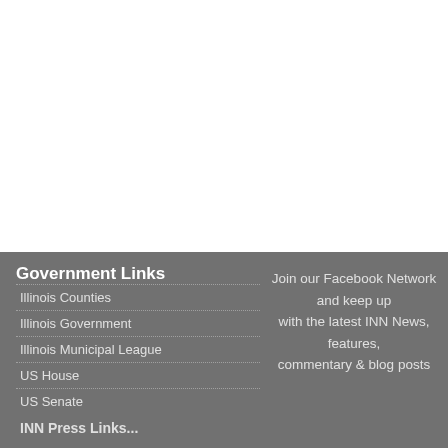Government Links
Illinois Counties
Illinois Government
Illinois Municipal League
US House
US Senate
Join our Facebook Network and keep up with the latest INN News, features, commentary & blog posts